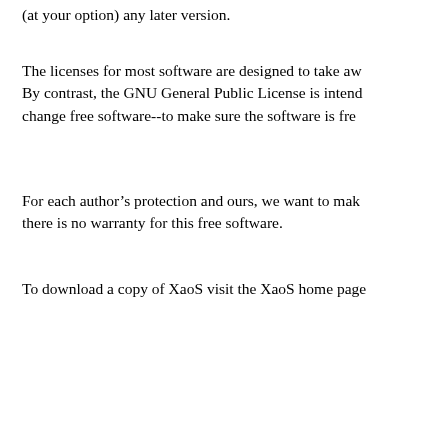(at your option) any later version.
The licenses for most software are designed to take aw By contrast, the GNU General Public License is intend change free software--to make sure the software is fre
For each author's protection and ours, we want to mak there is no warranty for this free software.
To download a copy of XaoS visit the XaoS home page